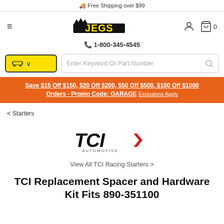🚚 Free Shipping over $99
[Figure (logo): JEGS automotive parts retailer logo in bold black text with crown icon, yellow accent]
☎ 1-800-345-4545
Save $15 Off $150, $20 Off $200, $50 Off $500, $100 Off $1000 Orders - Promo Code: GARAGE Exclusions Apply
< Starters
[Figure (logo): TCI Automotive logo in black italic text with red arrow/chevron accent]
View All TCI Racing Starters >
TCI Replacement Spacer and Hardware Kit Fits 890-351100